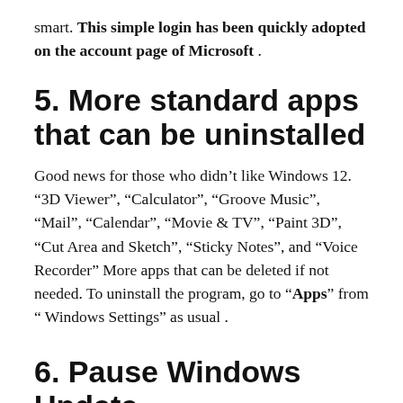smart. This simple login has been quickly adopted on the account page of Microsoft .
5. More standard apps that can be uninstalled
Good news for those who didn’t like Windows 12. “3D Viewer”, “Calculator”, “Groove Music”, “Mail”, “Calendar”, “Movie & TV”, “Paint 3D”, “Cut Area and Sketch”, “Sticky Notes”, and “Voice Recorder” More apps that can be deleted if not needed. To uninstall the program, go to “Apps” from “ Windows Settings” as usual .
6. Pause Windows Update